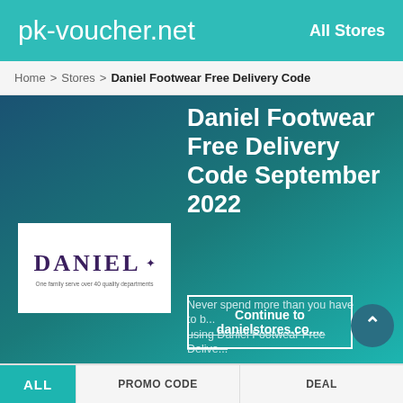pk-voucher.net   All Stores
Home > Stores > Daniel Footwear Free Delivery Code
Daniel Footwear Free Delivery Code September 2022
[Figure (logo): Daniel brand logo — white box with DANIEL in dark purple serif font with a crown symbol and tagline 'One family serve over 40 quality departments']
Never spend more than you have to b... using Daniel Footwear Free Delive...
Continue to danielstores.co....
ALL   PROMO CODE   DEAL